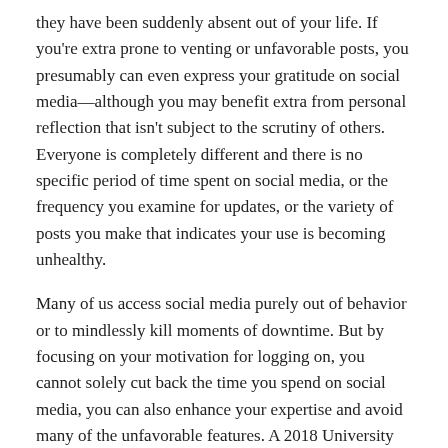they have been suddenly absent out of your life. If you're extra prone to venting or unfavorable posts, you presumably can even express your gratitude on social media—although you may benefit extra from personal reflection that isn't subject to the scrutiny of others. Everyone is completely different and there is no specific period of time spent on social media, or the frequency you examine for updates, or the variety of posts you make that indicates your use is becoming unhealthy.
Many of us access social media purely out of behavior or to mindlessly kill moments of downtime. But by focusing on your motivation for logging on, you cannot solely cut back the time you spend on social media, you can also enhance your expertise and avoid many of the unfavorable features. A 2018 University of Pennsylvania examine discovered that lowering social media use to half-hour a day resulted in a significant reduction in ranges of tension, depression, loneliness, sleep issues, and FOMO. But you don't need to chop again in your social media use that drastically to enhance your